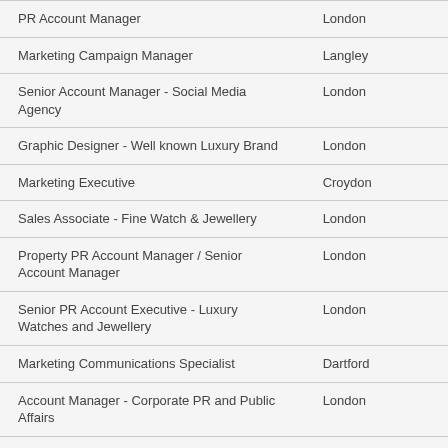| Job Title | Location |
| --- | --- |
| PR Account Manager | London |
| Marketing Campaign Manager | Langley |
| Senior Account Manager - Social Media Agency | London |
| Graphic Designer - Well known Luxury Brand | London |
| Marketing Executive | Croydon |
| Sales Associate - Fine Watch & Jewellery | London |
| Property PR Account Manager / Senior Account Manager | London |
| Senior PR Account Executive - Luxury Watches and Jewellery | London |
| Marketing Communications Specialist | Dartford |
| Account Manager - Corporate PR and Public Affairs | London |
| Sales Team Manager - Fast Growth Software Firm | Reading |